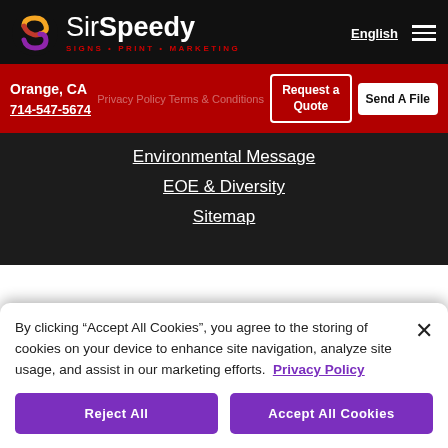[Figure (logo): SirSpeedy logo with colorful S icon and tagline SIGNS • PRINT • MARKETING]
English  ☰
Orange, CA
714-547-5674
Privacy Policy
Terms & Conditions
Request a Quote
Send A File
Environmental Message
EOE & Diversity
Sitemap
By clicking “Accept All Cookies”, you agree to the storing of cookies on your device to enhance site navigation, analyze site usage, and assist in our marketing efforts.  Privacy Policy
Reject All
Accept All Cookies